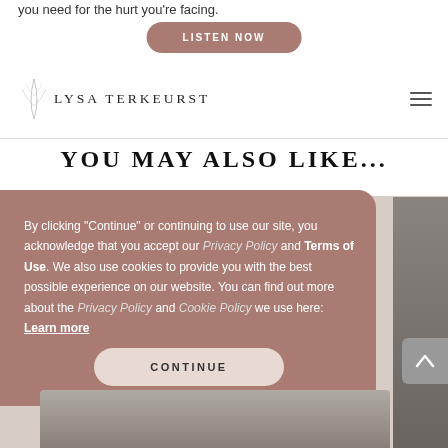you need for the hurt you're facing.
LISTEN NOW
LYSA TERKEURST
YOU MAY ALSO LIKE...
By clicking "Continue" or continuing to use our site, you acknowledge that you accept our Privacy Policy and Terms of Use. We also use cookies to provide you with the best possible experience on our website. You can find out more about the Privacy Policy and Cookie Policy we use here: Learn more
CONTINUE